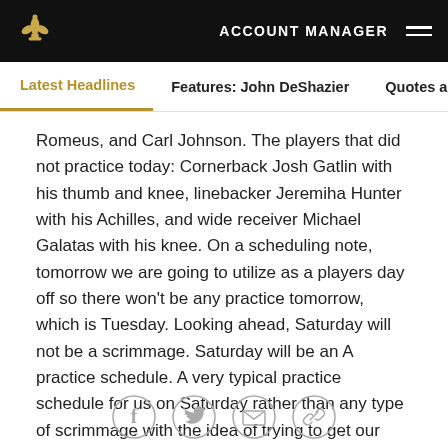ACCOUNT MANAGER
Latest Headlines | Features: John DeShazier | Quotes and Notes
Romeus, and Carl Johnson. The players that did not practice today: Cornerback Josh Gatlin with his thumb and knee, linebacker Jeremiha Hunter with his Achilles, and wide receiver Michael Galatas with his knee. On a scheduling note, tomorrow we are going to utilize as a players day off so there won't be any practice tomorrow, which is Tuesday. Looking ahead, Saturday will not be a scrimmage. Saturday will be an A practice schedule. A very typical practice schedule for us on Saturday rather than any type of scrimmage with the idea of trying to get our free agents in here and to get them up to speed. Any questions?
[Figure (other): Social sharing icons: Facebook, Twitter, Email, Link]